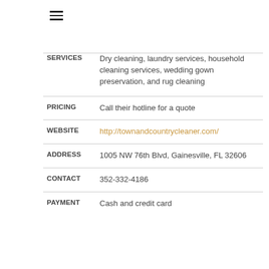[Figure (other): Hamburger menu icon (three horizontal lines)]
| SER-VICES | Dry cleaning, laundry services, household cleaning services, wedding gown preservation, and rug cleaning |
| PRICING | Call their hotline for a quote |
| WEBSITE | http://townandcountrycleaner.com/ |
| ADDRESS | 1005 NW 76th Blvd, Gainesville, FL 32606 |
| CONTACT | 352-332-4186 |
| PAYMENT | Cash and credit card |